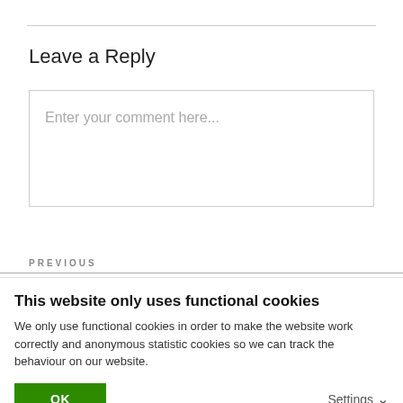Leave a Reply
Enter your comment here...
PREVIOUS
This website only uses functional cookies
We only use functional cookies in order to make the website work correctly and anonymous statistic cookies so we can track the behaviour on our website.
OK
Settings